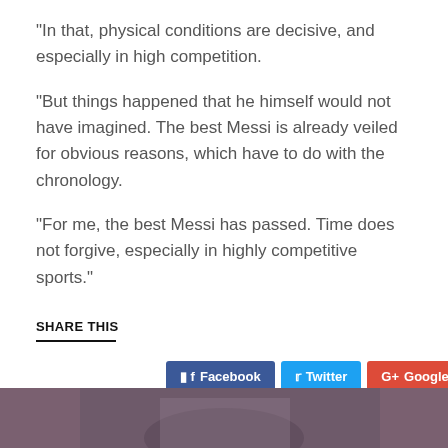“In that, physical conditions are decisive, and especially in high competition.
“But things happened that he himself would not have imagined. The best Messi is already veiled for obvious reasons, which have to do with the chronology.
“For me, the best Messi has passed. Time does not forgive, especially in highly competitive sports.”
SHARE THIS
[Figure (screenshot): Social sharing buttons: Facebook, Twitter, Google+, Pinterest, LinkedIn]
[Figure (photo): Bottom strip showing a partial photo of a soccer player]